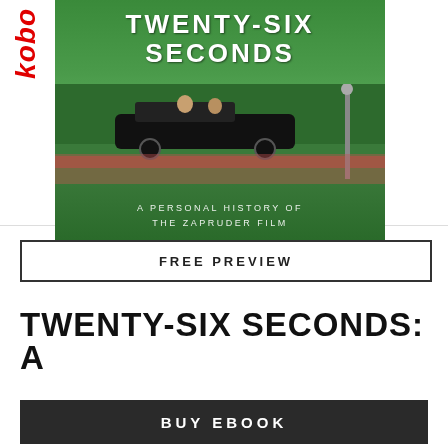[Figure (illustration): Kobo e-reader logo in red vertical text on the left side, and book cover for 'Twenty-Six Seconds: A Personal History of the Zapruder Film' showing a green background with the title text and a scene of a presidential motorcade]
FREE PREVIEW
TWENTY-SIX SECONDS: A
BUY EBOOK